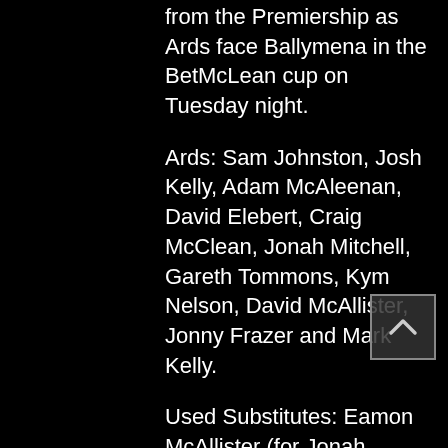from the Premiership as Ards face Ballymena in the BetMcLean cup on Tuesday night.
Ards: Sam Johnston, Josh Kelly, Adam McAleenan, David Elebert, Craig McClean, Jonah Mitchell, Gareth Tommons, Kym Nelson, David McAllister, Jonny Frazer and Mark Kelly.
Used Substitutes: Eamon McAllister (for Jonah Mitchell), Aaron Boyd (for Mark Kelly) and Michael McLellan (for Kym Nelson).
Unused substitutes: Jason Mooney, Matthew Torrens, Marc McKenna and Ryan Strain.